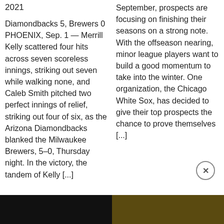2021
Diamondbacks 5, Brewers 0 PHOENIX, Sep. 1 — Merrill Kelly scattered four hits across seven scoreless innings, striking out seven while walking none, and Caleb Smith pitched two perfect innings of relief, striking out four of six, as the Arizona Diamondbacks blanked the Milwaukee Brewers, 5–0, Thursday night. In the victory, the tandem of Kelly [...]
September, prospects are focusing on finishing their seasons on a strong note. With the offseason nearing, minor league players want to build a good momentum to take into the winter. One organization, the Chicago White Sox, has decided to give their top prospects the chance to prove themselves [...]
[Figure (photo): Dark image on the left bottom of the page]
[Figure (photo): Dark golden image on the right bottom of the page]